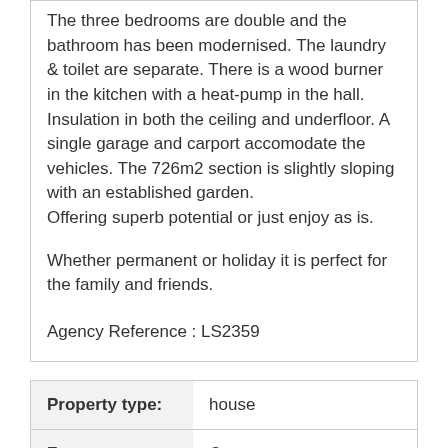The three bedrooms are double and the bathroom has been modernised. The laundry & toilet are separate. There is a wood burner in the kitchen with a heat-pump in the hall. Insulation in both the ceiling and underfloor. A single garage and carport accomodate the vehicles. The 726m2 section is slightly sloping with an established garden.
Offering superb potential or just enjoy as is.

Whether permanent or holiday it is perfect for the family and friends.

Agency Reference : LS2359
| Property type: | house |
| --- | --- |
| Features: | Carports |